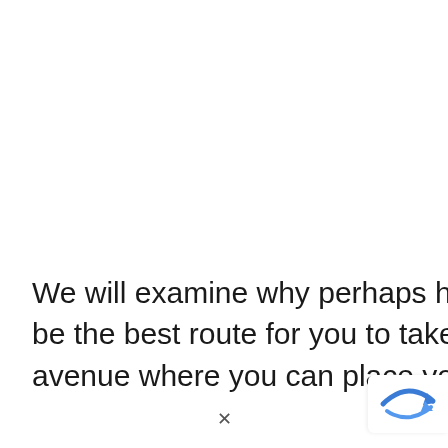We will examine why perhaps having a website might not even be the best route for you to take, and we will discuss every avenue where you can place your affiliate links (
[Figure (logo): A blue arrow logo/icon in the bottom-right corner, partially overlapping the text block]